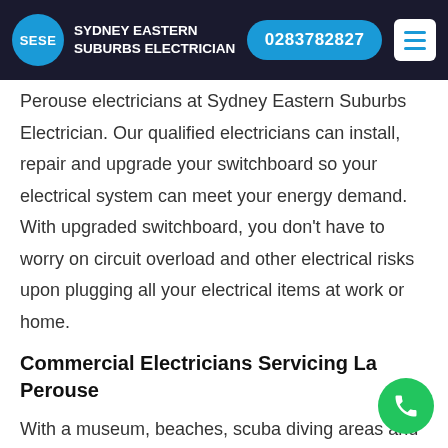SESE SYDNEY EASTERN SUBURBS ELECTRICIAN | 0283782827
Perouse electricians at Sydney Eastern Suburbs Electrician. Our qualified electricians can install, repair and upgrade your switchboard so your electrical system can meet your energy demand. With upgraded switchboard, you don't have to worry on circuit overload and other electrical risks upon plugging all your electrical items at work or home.
Commercial Electricians Servicing La Perouse
With a museum, beaches, scuba diving areas and other attractive sites at La Perouse, you can expect that there are many tourists to flock the suburb. Whether you a restaurant, small shop or lodging area, an adequat...